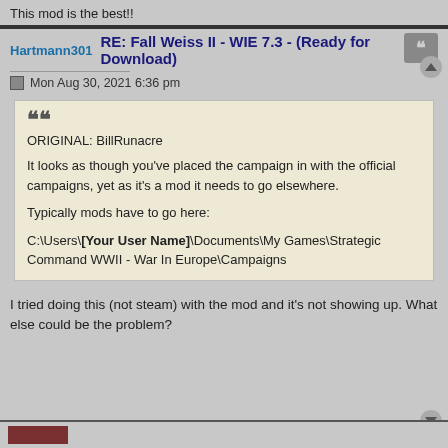This mod is the best!!
Hartmann301  RE: Fall Weiss II - WIE 7.3 - (Ready for Download)
Mon Aug 30, 2021 6:36 pm
ORIGINAL: BillRunacre

It looks as though you've placed the campaign in with the official campaigns, yet as it's a mod it needs to go elsewhere.

Typically mods have to go here:

C:\Users\[Your User Name]\Documents\My Games\Strategic Command WWII - War In Europe\Campaigns
I tried doing this (not steam) with the mod and it's not showing up. What else could be the problem?